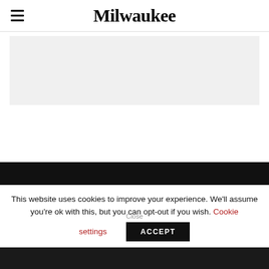Milwaukee
[Figure (other): Gray advertisement placeholder box]
[Figure (other): Dark black section / background image area]
This website uses cookies to improve your experience. We'll assume you're ok with this, but you can opt-out if you wish. Cookie settings ACCEPT Close
[Figure (photo): Bottom partial image strip, dark background]